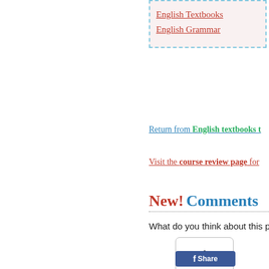English Textbooks
English Grammar
Return from English textbooks t
Visit the course review page for
New! Comments
What do you think about this pag
[Figure (screenshot): Facebook like button showing count of 1]
[Figure (screenshot): Facebook Share button]
Still looking?  Search the site for below.
[Figure (screenshot): Search input box]